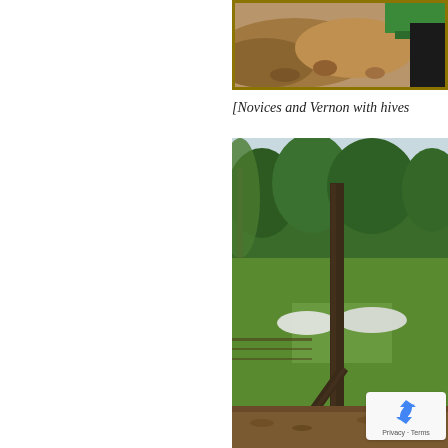[Figure (photo): Close-up photo of soil/dirt with green tarp visible, framed with gold/dark yellow border. Partial view - right side of page.]
[Novices and Vernon with hives
[Figure (photo): Outdoor garden/farm scene with tall wooden post/fence structure in foreground, lush green trees in background, garden beds with white row covers visible, wood chip mulch path, and a reCAPTCHA privacy badge overlay in lower right corner.]